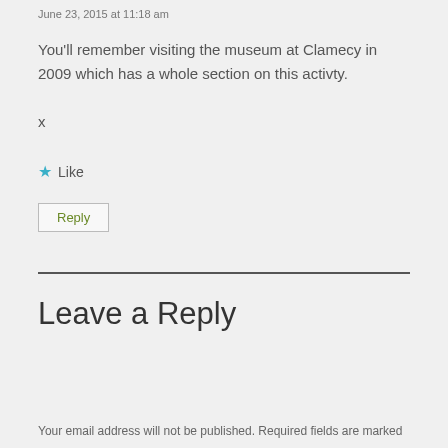June 23, 2015 at 11:18 am
You'll remember visiting the museum at Clamecy in 2009 which has a whole section on this activty.

x
★ Like
Reply
Leave a Reply
Your email address will not be published. Required fields are marked